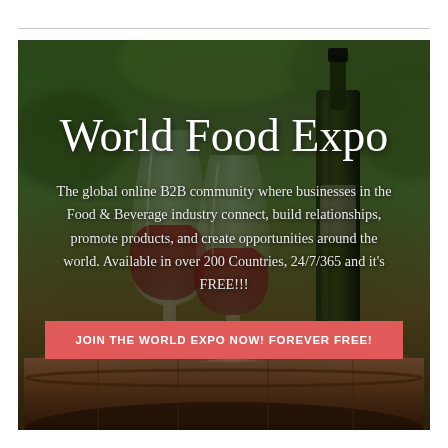[Figure (photo): Background photo of red wine glasses and a dark wine bottle on a wooden barrel, with blurred green vineyard foliage in the background. Overlaid with title 'World Food Expo', descriptive text about the global B2B community, and a red CTA button.]
World Food Expo
The global online B2B community where businesses in the Food & Beverage industry connect, build relationships, promote products, and create opportunities around the world. Available in over 200 Countries, 24/7/365 and it's FREE!!!
JOIN THE WORLD EXPO NOW! FOREVER FREE!